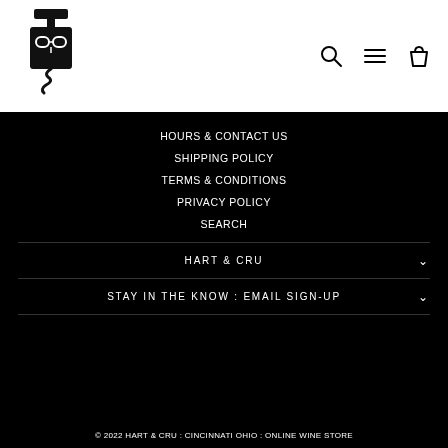[Figure (logo): Hart & Cru corkscrew mascot logo — illustrated character shaped like a wine corkscrew wearing glasses]
[Figure (other): Navigation icons: search (magnifying glass), hamburger menu, shopping bag]
HOURS & CONTACT US
SHIPPING POLICY
TERMS & CONDITIONS
PRIVACY POLICY
SEARCH
HART & CRU
STAY IN THE KNOW : EMAIL SIGN-UP
© 2022 HART & CRU : CINCINNATI OHIO : ONLINE WINE STORE